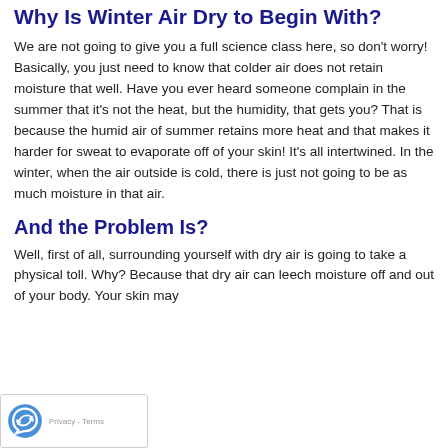Why Is Winter Air Dry to Begin With?
We are not going to give you a full science class here, so don't worry! Basically, you just need to know that colder air does not retain moisture that well. Have you ever heard someone complain in the summer that it's not the heat, but the humidity, that gets you? That is because the humid air of summer retains more heat and that makes it harder for sweat to evaporate off of your skin! It's all intertwined. In the winter, when the air outside is cold, there is just not going to be as much moisture in that air.
And the Problem Is?
Well, first of all, surrounding yourself with dry air is going to take a physical toll. Why? Because that dry air can leech moisture off and out of your body. Your skin may